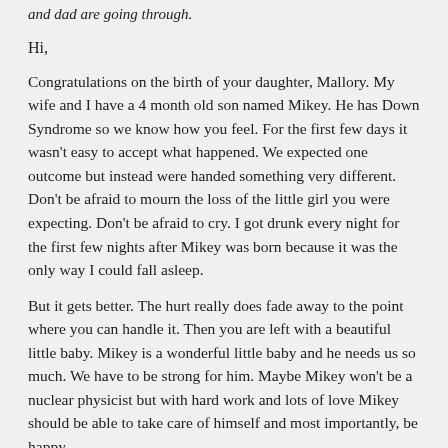and dad are going through.
Hi,
Congratulations on the birth of your daughter, Mallory. My wife and I have a 4 month old son named Mikey. He has Down Syndrome so we know how you feel. For the first few days it wasn't easy to accept what happened. We expected one outcome but instead were handed something very different. Don't be afraid to mourn the loss of the little girl you were expecting. Don't be afraid to cry. I got drunk every night for the first few nights after Mikey was born because it was the only way I could fall asleep.
But it gets better. The hurt really does fade away to the point where you can handle it. Then you are left with a beautiful little baby. Mikey is a wonderful little baby and he needs us so much. We have to be strong for him. Maybe Mikey won't be a nuclear physicist but with hard work and lots of love Mikey should be able to take care of himself and most importantly, be happy.
In the book "Uncommon Fathers," one of the fathers talks about his daughter who has Down Syndrome. After they were told, they were so upset that they decided that they would not bring their new baby home but rather they would have her